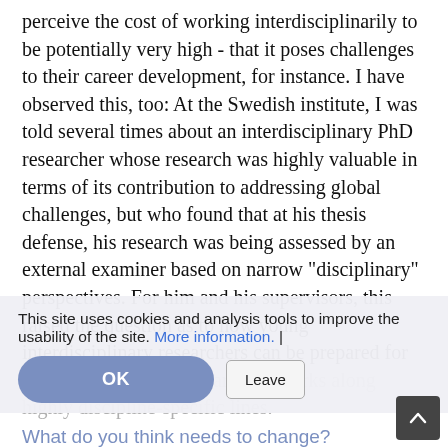perceive the cost of working interdisciplinarily to be potentially very high - that it poses challenges to their career development, for instance. I have observed this, too: At the Swedish institute, I was told several times about an interdisciplinary PhD researcher whose research was highly valuable in terms of its contribution to addressing global challenges, but who found that at his thesis defense, his research was being assessed by an external examiner based on narrow "disciplinary" perspectives. For him and his supervisors, this raised the question as to how young interdisciplinary researchers can be prepared for an academic world that are still works along highly discipline-specific lines.
This site uses cookies and analysis tools to improve the usability of the site. More information. |
What do you think needs to change?